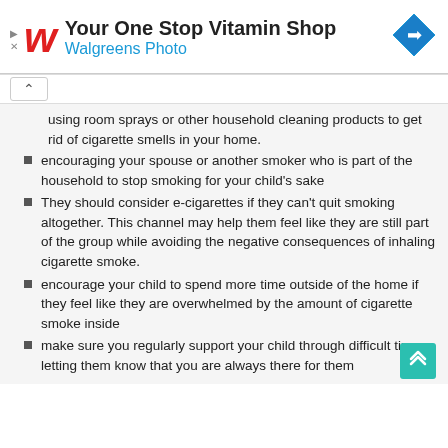[Figure (infographic): Walgreens advertisement banner: red cursive W logo, bold headline 'Your One Stop Vitamin Shop', blue subtitle 'Walgreens Photo', blue diamond navigation icon on the right, play and close controls on left]
using room sprays or other household cleaning products to get rid of cigarette smells in your home.
encouraging your spouse or another smoker who is part of the household to stop smoking for your child's sake
They should consider e-cigarettes if they can't quit smoking altogether. This channel may help them feel like they are still part of the group while avoiding the negative consequences of inhaling cigarette smoke.
encourage your child to spend more time outside of the home if they feel like they are overwhelmed by the amount of cigarette smoke inside
make sure you regularly support your child through difficult times, letting them know that you are always there for them